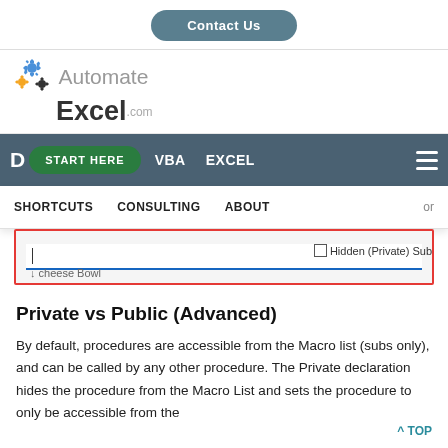Contact Us
[Figure (logo): AutomateExcel.com logo with gear icons]
[Figure (screenshot): Website navigation bar with START HERE, VBA, EXCEL, SHORTCUTS, CONSULTING, ABOUT links, and a search/input field with 'Hidden (Private) Sub' checkbox text]
Private vs Public (Advanced)
By default, procedures are accessible from the Macro list (subs only), and can be called by any other procedure. The Private declaration hides the procedure from the Macro List and sets the procedure to only be accessible from the